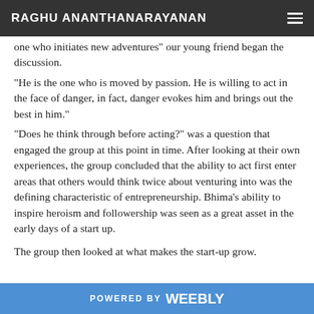RAGHU ANANTHANARAYANAN
one who initiates new adventures” our young friend began the discussion. “He is the one who is moved by passion. He is willing to act in the face of danger, in fact, danger evokes him and brings out the best in him.” “Does he think through before acting?” was a question that engaged the group at this point in time. After looking at their own experiences, the group concluded that the ability to act first enter areas that others would think twice about venturing into was the defining characteristic of entrepreneurship. Bhima’s ability to inspire heroism and followership was seen as a great asset in the early days of a start up.
The group then looked at what makes the start-up grow.
POWERED BY weebly